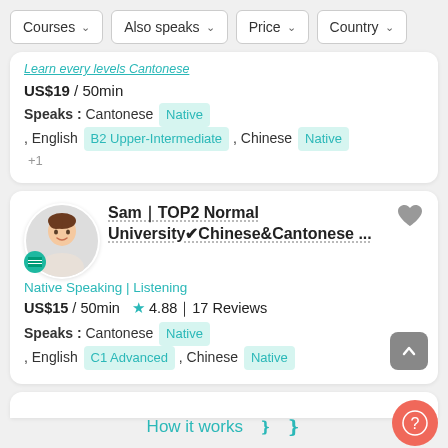Courses  Also speaks  Price  Country
Learn every levels Cantonese
US$19 / 50min
Speaks : Cantonese Native , English B2 Upper-Intermediate , Chinese Native +1
Sam｜TOP2 Normal University✔Chinese&Cantonese ...
Native Speaking | Listening
US$15 / 50min  ★ 4.88｜17 Reviews
Speaks : Cantonese Native , English C1 Advanced , Chinese Native
How it works  ❯❯